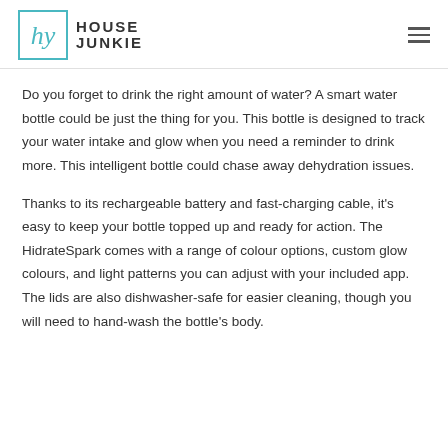HOUSE JUNKIE
Do you forget to drink the right amount of water? A smart water bottle could be just the thing for you. This bottle is designed to track your water intake and glow when you need a reminder to drink more. This intelligent bottle could chase away dehydration issues.
Thanks to its rechargeable battery and fast-charging cable, it's easy to keep your bottle topped up and ready for action. The HidrateSpark comes with a range of colour options, custom glow colours, and light patterns you can adjust with your included app. The lids are also dishwasher-safe for easier cleaning, though you will need to hand-wash the bottle's body.